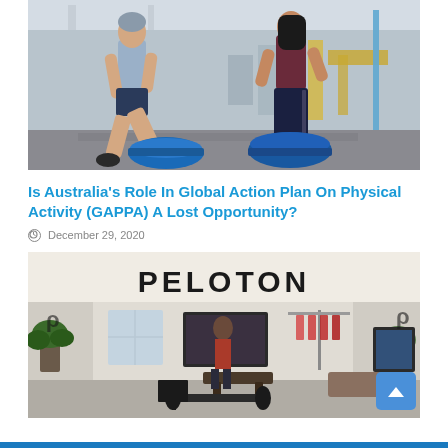[Figure (photo): Two people exercising on BOSU balance trainers in a gym setting with exercise equipment in the background]
Is Australia's Role In Global Action Plan On Physical Activity (GAPPA) A Lost Opportunity?
December 29, 2020
[Figure (photo): Peloton retail store front with large PELOTON sign, showing exercise equipment inside, weights on the floor, and plants on either side of the entrance]